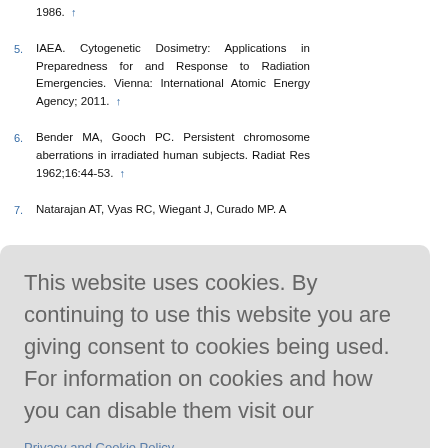1986. ↑
5. IAEA. Cytogenetic Dosimetry: Applications in Preparedness for and Response to Radiation Emergencies. Vienna: International Atomic Energy Agency; 2011. ↑
6. Bender MA, Gooch PC. Persistent chromosome aberrations in irradiated human subjects. Radiat Res 1962;16:44-53. ↑
7. Natarajan AT, Vyas RC, Wiegant J, Curado MP. A
This website uses cookies. By continuing to use this website you are giving consent to cookies being used. For information on cookies and how you can disable them visit our
Privacy and Cookie Policy.
AGREE & PROCEED
accidentally exposed in the 1987 radiological accident in Brazil. Mutat Res 1995;321:47-54. ↑